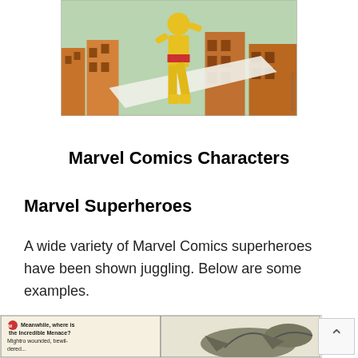[Figure (illustration): Vintage Marvel comic artwork showing a superhero in yellow costume running across rooftops of a city skyline. Watermark 'mycomicshop' visible on right edge.]
Marvel Comics Characters
Marvel Superheroes
A wide variety of Marvel Comics superheroes have been shown juggling. Below are some examples.
[Figure (illustration): Bottom portion of a vintage comic strip panel with text 'Meanwhile, where is the Incredible Menace? Mightro wounded, bewildered...' and partial illustration visible.]